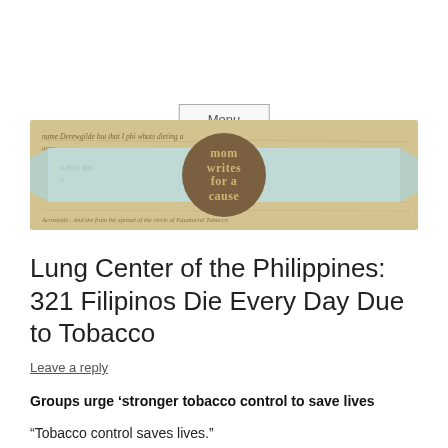Menu
[Figure (illustration): Blog header banner with vintage map/document background, a light blue ribbon/scroll overlay, and a brown circular badge in the center reading 'mom writes for a cause']
Lung Center of the Philippines: 321 Filipinos Die Every Day Due to Tobacco
Leave a reply
Groups urge ‘stronger tobacco control to save lives
“Tobacco control saves lives.”